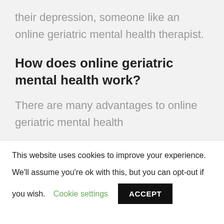their depression, someone like an online geriatric mental health therapist.
How does online geriatric mental health work?
There are many advantages to online geriatric mental health
This website uses cookies to improve your experience.
We'll assume you're ok with this, but you can opt-out if you wish. Cookie settings ACCEPT